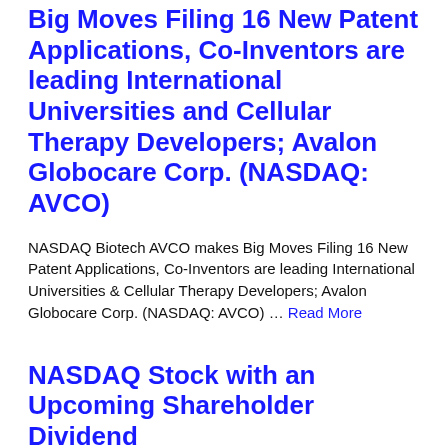Big Moves Filing 16 New Patent Applications, Co-Inventors are leading International Universities and Cellular Therapy Developers; Avalon Globocare Corp. (NASDAQ: AVCO)
NASDAQ Biotech AVCO makes Big Moves Filing 16 New Patent Applications, Co-Inventors are leading International Universities & Cellular Therapy Developers; Avalon Globocare Corp. (NASDAQ: AVCO) … Read More
NASDAQ Stock with an Upcoming Shareholder Dividend